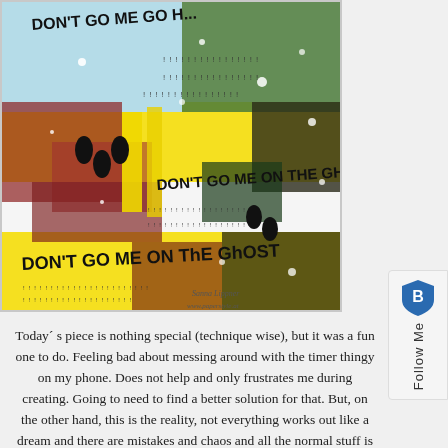[Figure (illustration): Mixed media art journal page with colorful collage background (yellow, red, green, dark patches) with text stamps reading 'DON'T GO ME ON THE GHOST' repeated in bold black letters, footprint stamps, white paint splatters, and a signature 'Sanna Lippner www.paperstyle.at' in the bottom right corner.]
Today´s piece is nothing special (technique wise), but it was a fun one to do. Feeling bad about messing around with the timer thingy on my phone. Does not help and only frustrates me during creating. Going to need to find a better solution for that. But, on the other hand, this is the reality, not everything works out like a dream and there are mistakes and chaos and all the normal stuff is going on (=real life) here too, so things just happen the way they do. Theretore, I decided to just post whatever the